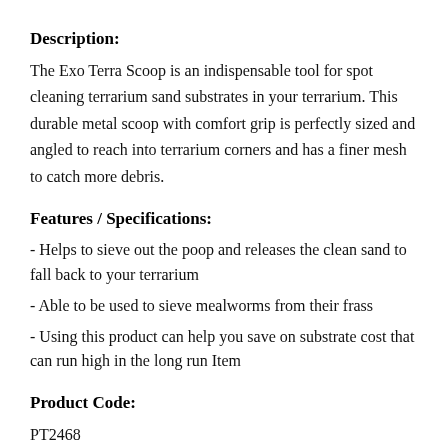Description:
The Exo Terra Scoop is an indispensable tool for spot cleaning terrarium sand substrates in your terrarium. This durable metal scoop with comfort grip is perfectly sized and angled to reach into terrarium corners and has a finer mesh to catch more debris.
Features / Specifications:
- Helps to sieve out the poop and releases the clean sand to fall back to your terrarium
- Able to be used to sieve mealworms from their frass
- Using this product can help you save on substrate cost that can run high in the long run Item
Product Code:
PT2468